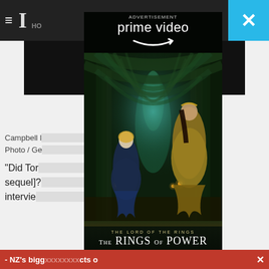[Figure (screenshot): Screenshot of a news website (NZ Herald or similar) with an Amazon Prime Video advertisement overlay for 'The Lord of the Rings: The Rings of Power' series. The ad shows two female characters in a mystical forest tunnel with glowing lanterns. Top of page shows dark navigation bar with hamburger menu and newspaper logo. A blue close button (X) is in the top right. The ad displays the Prime Video logo, the show title 'THE LORD OF THE RINGS THE RINGS OF POWER' and tagline 'WATCH NOW | NEW SERIES'. A red banner at the bottom reads '-NZ's bigg... cts o X'.]
Campbell l... movies. Photo / Ge...
"Did Tor... Gun sequel]?... interview...
- NZ's bigg    cts o  X